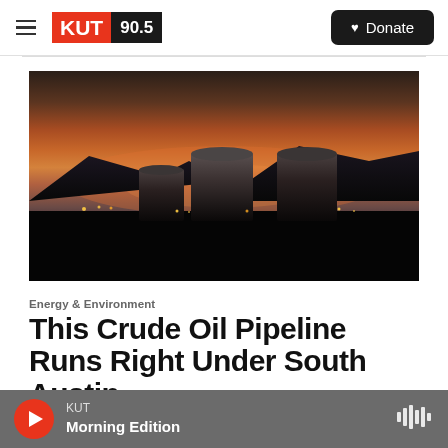KUT 90.5 | Donate
[Figure (photo): Oil storage tanks silhouetted against a dramatic sunset sky with orange and pink hues, dark mountains in the background, lights visible at ground level]
Energy & Environment
This Crude Oil Pipeline Runs Right Under South Austin
KUT | Morning Edition